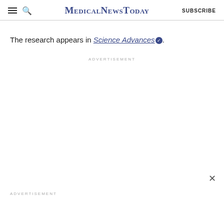MedicalNewsToday SUBSCRIBE
The research appears in Science Advances.
ADVERTISEMENT
ADVERTISEMENT